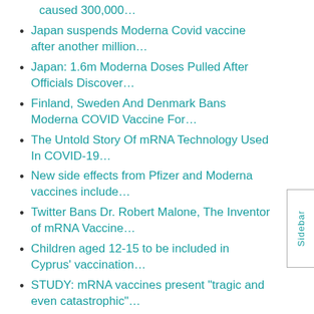caused 300,000…
Japan suspends Moderna Covid vaccine after another million…
Japan: 1.6m Moderna Doses Pulled After Officials Discover…
Finland, Sweden And Denmark Bans Moderna COVID Vaccine For…
The Untold Story Of mRNA Technology Used In COVID-19…
New side effects from Pfizer and Moderna vaccines include…
Twitter Bans Dr. Robert Malone, The Inventor of mRNA Vaccine…
Children aged 12-15 to be included in Cyprus' vaccination…
STUDY: mRNA vaccines present "tragic and even catastrophic"…